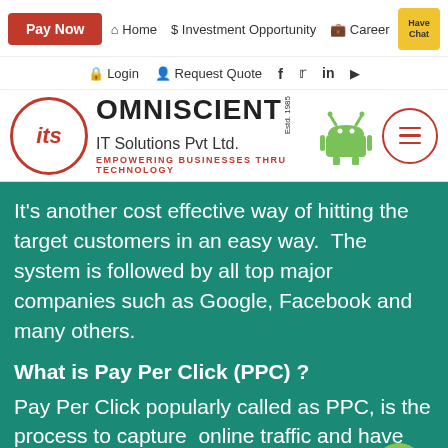Pay Now  Home  $ Investment Opportunity  Career
Login  Request Quote  f  twitter  in  youtube
[Figure (logo): Omniscient IT Solutions Pvt Ltd logo with red circle, 'its' text, company name, Est. 1985, tagline EMPOWERING BUSINESSES THRU TECHNOLOGY, Android robot icon, and hamburger menu circle]
It’s another cost effective way of hitting the target customers in an easy way.  The system is followed by all top major companies such as Google, Facebook and many others.
What is Pay Per Click (PPC) ?
Pay Per Click popularly called as PPC, is the process to capture  online traffic and have visibility by buying up advertising spots on search